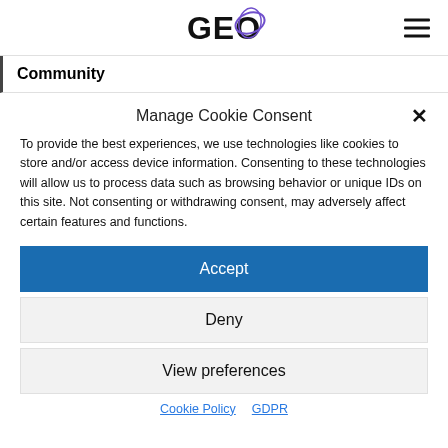GEO
Community
Manage Cookie Consent
To provide the best experiences, we use technologies like cookies to store and/or access device information. Consenting to these technologies will allow us to process data such as browsing behavior or unique IDs on this site. Not consenting or withdrawing consent, may adversely affect certain features and functions.
Accept
Deny
View preferences
Cookie Policy  GDPR